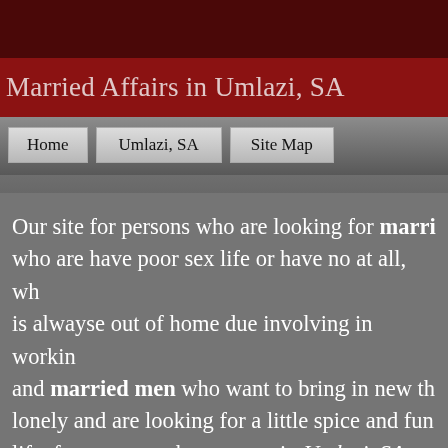Married Affairs in Umlazi, SA
Home | Umlazi, SA | Site Map
Our site for persons who are looking for married affairs, who are have poor sex life or have no at all, who is alwayse out of home due involving in working and married men who want to bring in new thrill, lonely and are looking for a little spice and fun in life, for persons who are new in Umlazi, SA and extramarital affairs or just want to fling.